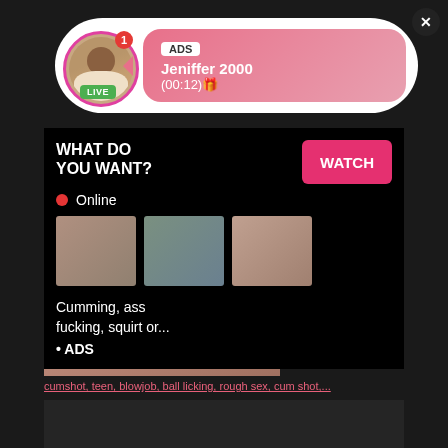[Figure (screenshot): Notification banner with avatar, ADS label, username Jeniffer 2000, timestamp (00:12), LIVE badge, and close button]
[Figure (screenshot): Adult content video thumbnail with HD badge and min label on left side]
[Figure (screenshot): Popup overlay with WHAT DO YOU WANT? heading, WATCH button, Online indicator, three thumbnail images, description text and ADS label]
cumshot, teen, blowjob, ball licking, rough sex, cum shot,...
[Figure (screenshot): Dark bottom section of page]